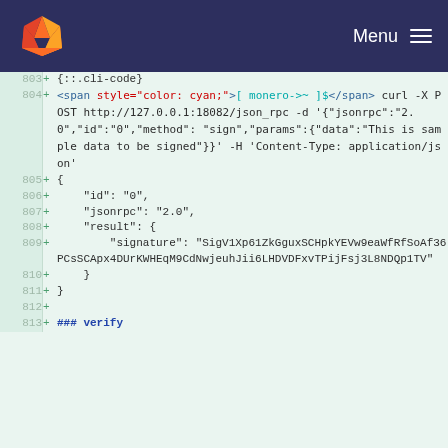[Figure (screenshot): GitLab navigation header with orange fox logo and Menu hamburger icon on dark navy background]
803 + {::.cli-code}
804 + <span style="color: cyan;">[ monero->~ ]$</span> curl -X POST http://127.0.0.1:18082/json_rpc -d '{"jsonrpc":"2.0","id":"0","method":"sign","params":{"data":"This is sample data to be signed"}}' -H 'Content-Type: application/json'
805 + {
806 +     "id": "0",
807 +     "jsonrpc": "2.0",
808 +     "result": {
809 +         "signature": "SigV1Xp61ZkGguxSCHpkYEVw9eaWfRfSoAf36PCsSCApx4DUrKWHEqM9CdNwjeuhJii6LHDVDFxvTPijFsj3L8NDQp1TV"
810 +     }
811 + }
812 +
813 + ### verify